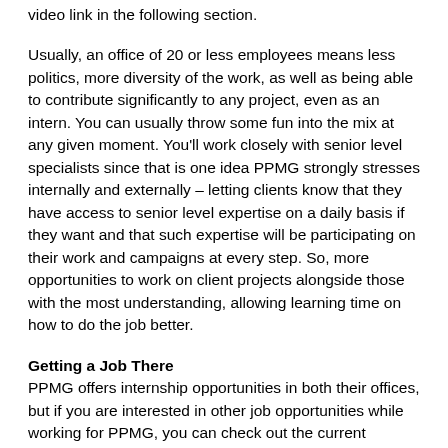video link in the following section.
Usually, an office of 20 or less employees means less politics, more diversity of the work, as well as being able to contribute significantly to any project, even as an intern. You can usually throw some fun into the mix at any given moment. You'll work closely with senior level specialists since that is one idea PPMG strongly stresses internally and externally – letting clients know that they have access to senior level expertise on a daily basis if they want and that such expertise will be participating on their work and campaigns at every step. So, more opportunities to work on client projects alongside those with the most understanding, allowing learning time on how to do the job better.
Getting a Job There
PPMG offers internship opportunities in both their offices, but if you are interested in other job opportunities while working for PPMG, you can check out the current openings